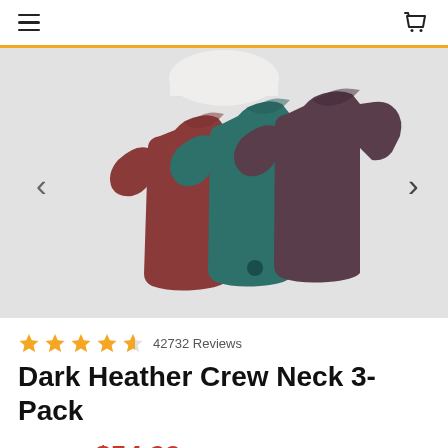[Figure (screenshot): Top navigation bar with hamburger menu on left and shopping cart icon on top right, with gold/yellow bottom border]
[Figure (photo): Product photo showing three crew neck t-shirts arranged in a fan layout: burgundy/red on left, teal/green in middle, dark purple/mauve on right, displayed on a light gray background with left and right navigation arrows]
42732 Reviews
Dark Heather Crew Neck 3-Pack
$68.97 $54.99 (Only $18.33 per tee)